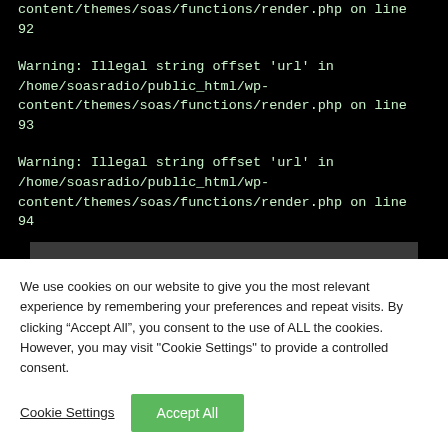content/themes/soas/functions/render.php on line 92
Warning: Illegal string offset 'url' in /home/soasradio/public_html/wp-content/themes/soas/functions/render.php on line 93
Warning: Illegal string offset 'url' in /home/soasradio/public_html/wp-content/themes/soas/functions/render.php on line 94
Movimientos 10/10/12
Fri, 2012-10-26 18:47
We use cookies on our website to give you the most relevant experience by remembering your preferences and repeat visits. By clicking “Accept All”, you consent to the use of ALL the cookies. However, you may visit "Cookie Settings" to provide a controlled consent.
Cookie Settings
Accept All